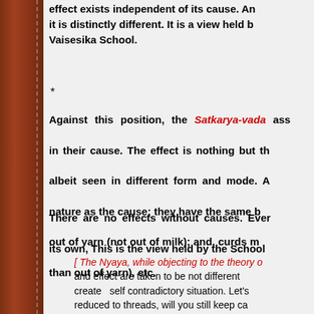effect exists independent of its cause. And it is distinctly different. It is a view held by Vaisesika School.
*
Against this position, the Satkarya-vada asserts that effects pre-exist in their cause. The effect is nothing but the cause itself, albeit seen in different form and mode. A effect has the same nature as the cause; they have the same basic stuff. Cloth is made out of yarn (not out of milk); and, curds made out of milk (rather than out of yarn), etc.
There are no effects without causes. Every effect has a cause of its own, This is the view held by the Schools...
[ The Nyaya, while objecting to the theory of... and effect are taken to be not different... create self contradictory situation. Let's... reduced to threads, will you still keep ca... serve the same purpose as the cloth? A... cloth and the torn threads are identical... the... if the cloth and the threads...